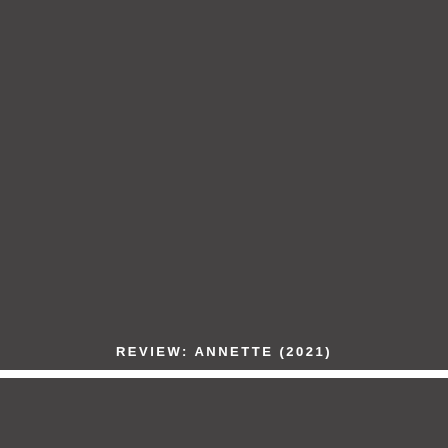[Figure (photo): Dark gray rectangular panel occupying the top portion of the page, appearing to be a movie review cover image with dark background]
REVIEW: ANNETTE (2021)
Travis Johnson  28/10/2021
[Figure (photo): Dark gray rectangular panel at the bottom of the page]